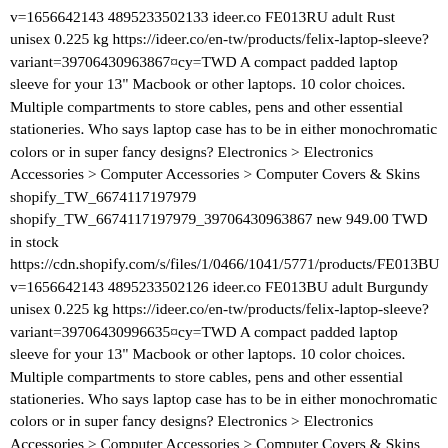v=1656642143 4895233502133 ideer.co FE013RU adult Rust unisex 0.225 kg https://ideer.co/en-tw/products/felix-laptop-sleeve?variant=39706430963867&currency=TWD A compact padded laptop sleeve for your 13" Macbook or other laptops. 10 color choices. Multiple compartments to store cables, pens and other essential stationeries. Who says laptop case has to be in either monochromatic colors or in super fancy designs? Electronics > Electronics Accessories > Computer Accessories > Computer Covers & Skins shopify_TW_6674117197979 shopify_TW_6674117197979_39706430963867 new 949.00 TWD in stock https://cdn.shopify.com/s/files/1/0466/1041/5771/products/FE013BU v=1656642143 4895233502126 ideer.co FE013BU adult Burgundy unisex 0.225 kg https://ideer.co/en-tw/products/felix-laptop-sleeve?variant=39706430996635&currency=TWD A compact padded laptop sleeve for your 13" Macbook or other laptops. 10 color choices. Multiple compartments to store cables, pens and other essential stationeries. Who says laptop case has to be in either monochromatic colors or in super fancy designs? Electronics > Electronics Accessories > Computer Accessories > Computer Covers & Skins shopify_TW_6674117197979 shopify_TW_6674117197979_39706430996635 new 949.00 TWD out of stock https://cdn.shopify.com/s/files/1/0466/1041/5771/products/FE013GY v=1656642143 4895233502188 ideer.co FE013GY adult Grey